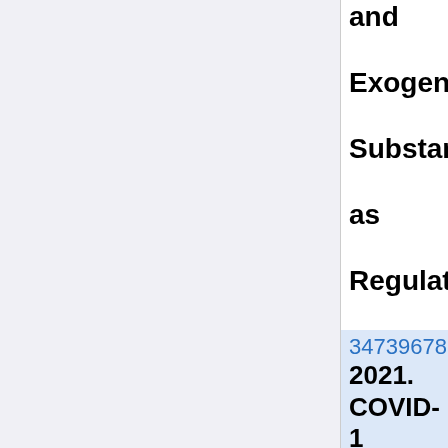and Exogenous Substances as Regulatory Factors and Substrates
34739678 2021. COVID-19 and